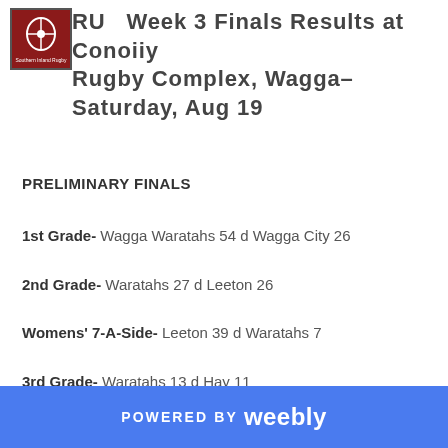RU  Week 3 Finals Results at Conoiiy Rugby Complex, Wagga– Saturday, Aug 19
PRELIMINARY FINALS
1st Grade- Wagga Waratahs 54 d Wagga City 26
2nd Grade- Waratahs 27 d Leeton 26
Womens' 7-A-Side- Leeton 39 d Waratahs 7
3rd Grade- Waratahs 13 d Hay 11
POWERED BY weebly